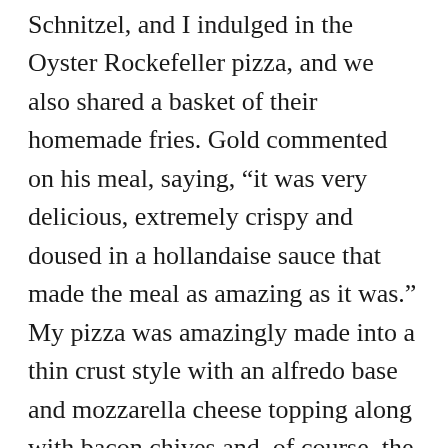Schnitzel, and I indulged in the Oyster Rockefeller pizza, and we also shared a basket of their homemade fries. Gold commented on his meal, saying, “it was very delicious, extremely crispy and doused in a hollandaise sauce that made the meal as amazing as it was.” My pizza was amazingly made into a thin crust style with an alfredo base and mozzarella cheese topping along with bacon chives and, of course, the oysters. I will say that the oysters by themselves are not necessarily my taste, but the house fries made up for it all. The French fries were served with a selection of three different sauces and